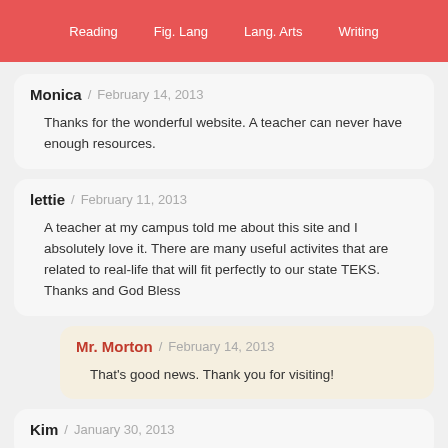Reading  Fig. Lang  Lang. Arts  Writing
Monica / February 14, 2013
Thanks for the wonderful website. A teacher can never have enough resources.
lettie / February 11, 2013
A teacher at my campus told me about this site and I absolutely love it. There are many useful activites that are related to real-life that will fit perfectly to our state TEKS. Thanks and God Bless
Mr. Morton / February 14, 2013
That's good news. Thank you for visiting!
Kim / January 30, 2013